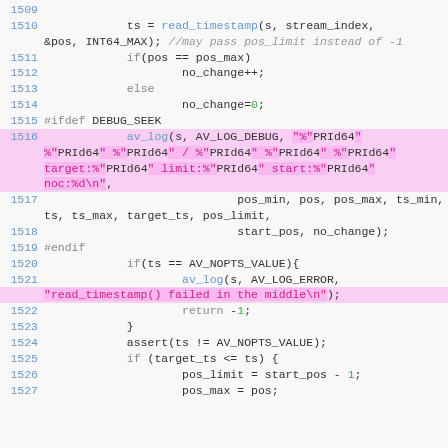[Figure (screenshot): Source code listing in C showing lines 1509-1527 of a media file seeking function. Code uses av_log for debug and error logging, read_timestamp calls, and conditional logic for timestamp-based seeking.]